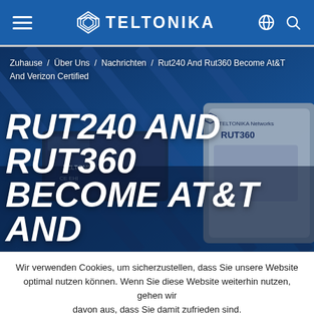TELTONIKA
Zuhause / Über Uns / Nachrichten / Rut240 And Rut360 Become At&T And Verizon Certified
[Figure (photo): Photo of Teltonika RUT240 and RUT360 routers on a blue background]
RUT240 AND RUT360 BECOME AT&T AND
Wir verwenden Cookies, um sicherzustellen, dass Sie unsere Website optimal nutzen können. Wenn Sie diese Website weiterhin nutzen, gehen wir davon aus, dass Sie damit zufrieden sind.
IN ORDNUNG | COOKIE-RICHTLINIE